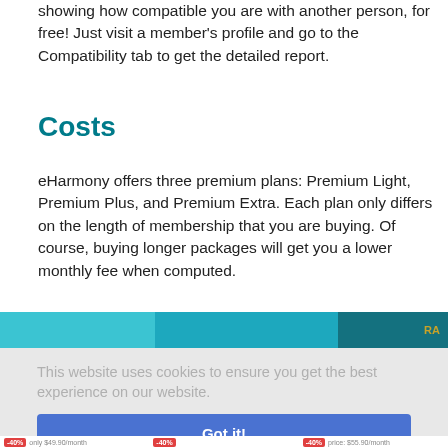showing how compatible you are with another person, for free! Just visit a member's profile and go to the Compatibility tab to get the detailed report.
Costs
eHarmony offers three premium plans: Premium Light, Premium Plus, and Premium Extra. Each plan only differs on the length of membership that you are buying. Of course, buying longer packages will get you a lower monthly fee when computed.
[Figure (screenshot): Partial screenshot of eHarmony pricing plan header with teal/dark teal columns and 'RA' label visible at top right]
This website uses cookies to ensure you get the best experience on our website.
Got it!
[Figure (screenshot): Partial bottom of pricing cards showing -40% badges and price labels like $49.90/month and $55.90/month]